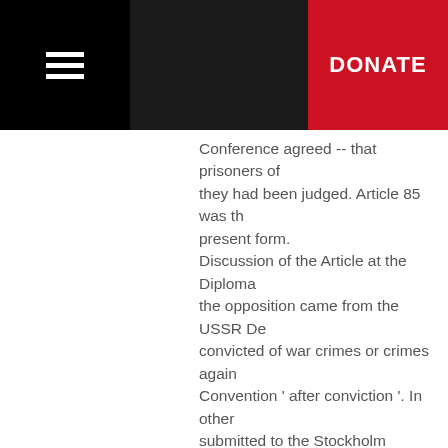DONATE
Conference agreed -- that prisoners of they had been judged. Article 85 was th present form. Discussion of the Article at the Diploma the opposition came from the USSR De convicted of war crimes or crimes again Convention ' after conviction '. In other submitted to the Stockholm Conference reason why prisoners of war convicted persons serving sentence for a crimina favour of the text as it now stands point protection to prisoners of war; the few h prisoners of war could not in any way je view was finally adopted by the Diplom. several other States entered a reservation in this connection when the During the discussion, several speaker inappropriate and even unjust to try pri were still in progress. Furthermore, in it Convention (5) emphasized that nation